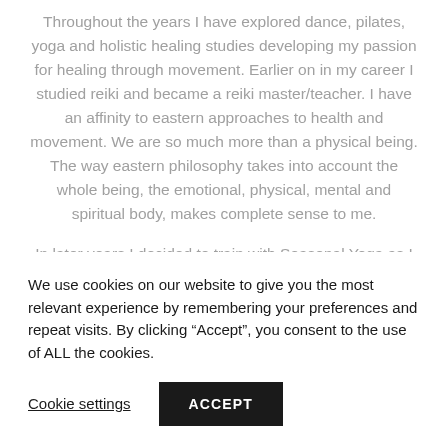Throughout the years I have explored dance, pilates, yoga and holistic healing studies developing my passion for healing through movement. Earlier on in my career I studied reiki and became a reiki master/teacher. I have an affinity to eastern approaches to health and movement. We are so much more than a physical being. The way eastern philosophy takes into account the whole being, the emotional, physical, mental and spiritual body, makes complete sense to me.
In later years I decided to train with Seasonal Yoga as I
We use cookies on our website to give you the most relevant experience by remembering your preferences and repeat visits. By clicking “Accept”, you consent to the use of ALL the cookies.
Cookie settings
ACCEPT